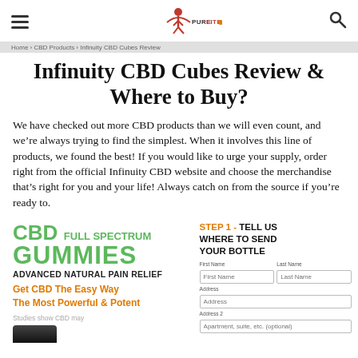Pure Fiter (logo)
Infinuity CBD Cubes Review & Where to Buy?
We have checked out more CBD products than we will even count, and we’re always trying to find the simplest. When it involves this line of products, we found the best! If you would like to urge your supply, order right from the official Infinuity CBD website and choose the merchandise that’s right for you and your life! Always catch on from the source if you’re ready to.
[Figure (infographic): CBD Full Spectrum Gummies product ad with text: CBD FULL SPECTRUM GUMMIES, ADVANCED NATURAL PAIN RELIEF, Get CBD The Easy Way, The Most Powerful & Potent, Studies show CBD may...]
[Figure (screenshot): Step 1 form: TELL US WHERE TO SEND YOUR BOTTLE with fields for First Name, Last Name, Address, Address 2]